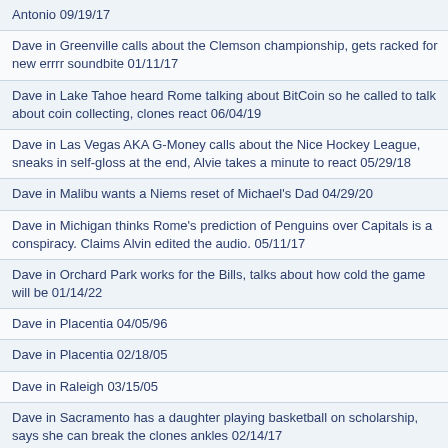Antonio 09/19/17
Dave in Greenville calls about the Clemson championship, gets racked for new errrr soundbite 01/11/17
Dave in Lake Tahoe heard Rome talking about BitCoin so he called to talk about coin collecting, clones react 06/04/19
Dave in Las Vegas AKA G-Money calls about the Nice Hockey League, sneaks in self-gloss at the end, Alvie takes a minute to react 05/29/18
Dave in Malibu wants a Niems reset of Michael's Dad 04/29/20
Dave in Michigan thinks Rome's prediction of Penguins over Capitals is a conspiracy. Claims Alvin edited the audio. 05/11/17
Dave in Orchard Park works for the Bills, talks about how cold the game will be 01/14/22
Dave in Placentia 04/05/96
Dave in Placentia 02/18/05
Dave in Raleigh 03/15/05
Dave in Sacramento has a daughter playing basketball on scholarship, says she can break the clones ankles 02/14/17
Dave in Saint Louis 04/30/08
Dave in Saint Louis Non Hunter 10/18/07
Dave in Saint Louis-Non Hunter 06/21/07
Dave in Santa Barbara has only shed tears twice, when he married his wife and when the Chiefs won the AFC Championship 01/20/20
Dave in Seminole FL calls with crying baby in the background and gets run for